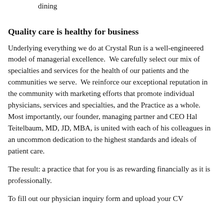dining
Quality care is healthy for business
Underlying everything we do at Crystal Run is a well-engineered model of managerial excellence.  We carefully select our mix of specialties and services for the health of our patients and the communities we serve.  We reinforce our exceptional reputation in the community with marketing efforts that promote individual physicians, services and specialties, and the Practice as a whole.  Most importantly, our founder, managing partner and CEO Hal Teitelbaum, MD, JD, MBA, is united with each of his colleagues in an uncommon dedication to the highest standards and ideals of patient care.
The result: a practice that for you is as rewarding financially as it is professionally.
To fill out our physician inquiry form and upload your CV